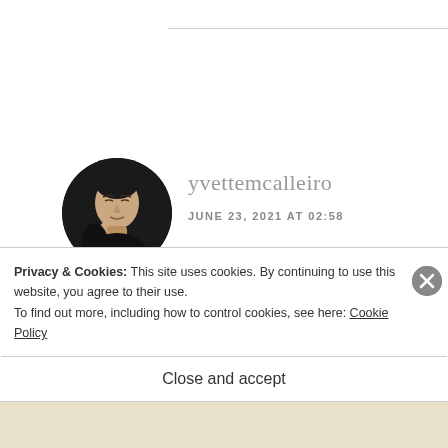[Figure (photo): Circular avatar photo of a woman with closed eyes, resting her chin on her hand, black and white photo style against dark background]
yvettemcalleiro
JUNE 23, 2021 AT 02:58
Your book trailers always put me in a good mood, Robbie. Thanks for hosting today,
Privacy & Cookies: This site uses cookies. By continuing to use this website, you agree to their use.
To find out more, including how to control cookies, see here: Cookie Policy
Close and accept